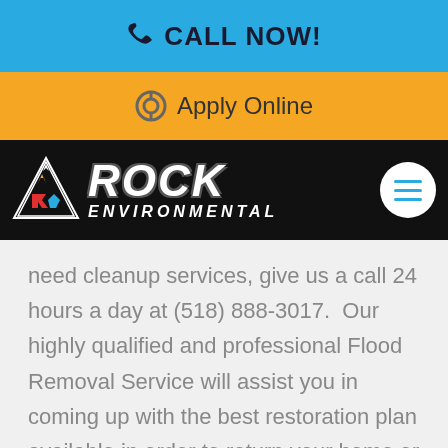📞 CALL NOW!
🔘 Apply Online
[Figure (logo): Rock Environmental logo — triangle icon with fire/water/earth motif on left, bold italic ROCK ENVIRONMENTAL text on right, white circular hamburger menu button on far right, all on black background.]
need cleanup services, give us a call 24 hours a day at (518) 888-3017.  Our highly qualified and professional Flood Removal Service will assist you in coming up with the best restoration plan available in order to return your home or business back to its safe, dry environment as fast as possible.